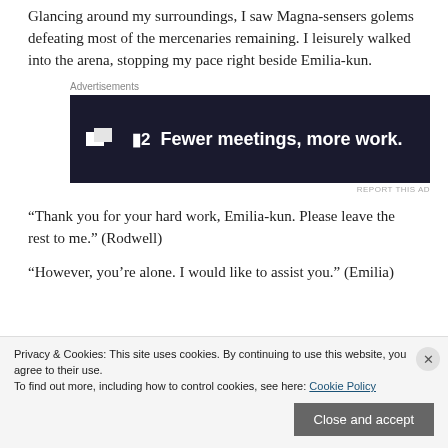Glancing around my surroundings, I saw Magna-sensers golems defeating most of the mercenaries remaining. I leisurely walked into the arena, stopping my pace right beside Emilia-kun.
[Figure (other): Advertisement banner: dark navy background with white icon showing two overlapping rectangles and the text '▮2  Fewer meetings, more work.' Label 'Advertisements' above, 'REPORT THIS AD' below.]
“Thank you for your hard work, Emilia-kun. Please leave the rest to me.” (Rodwell)
“However, you’re alone. I would like to assist you.” (Emilia)
Privacy & Cookies: This site uses cookies. By continuing to use this website, you agree to their use.
To find out more, including how to control cookies, see here: Cookie Policy
Close and accept